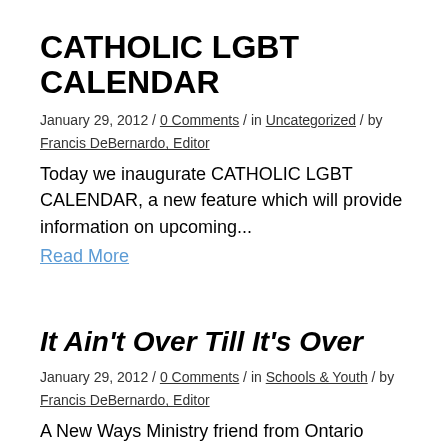CATHOLIC LGBT CALENDAR
January 29, 2012 / 0 Comments / in Uncategorized / by Francis DeBernardo, Editor
Today we inaugurate CATHOLIC LGBT CALENDAR, a new feature which will provide information on upcoming...
Read More
It Ain't Over Till It's Over
January 29, 2012 / 0 Comments / in Schools & Youth / by Francis DeBernardo, Editor
A New Ways Ministry friend from Ontario